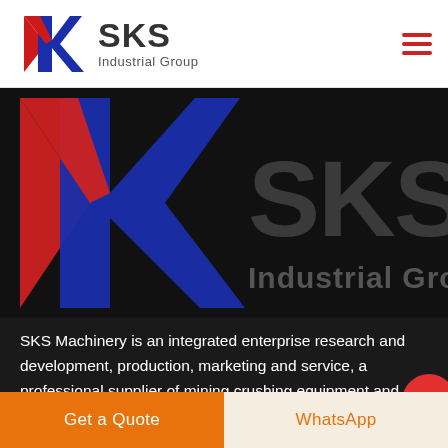[Figure (logo): SKS Industrial Group logo in header: red and blue K-shaped icon, bold gray SKS text, 'Industrial Group' subtitle]
[Figure (logo): Large SKS Industrial Group hero banner on dark/black background with oversized logo and brand name]
SKS Machinery is an integrated enterprise research and development, production, marketing and service, a professional supplier of mining crushing equipment and industrial grinding mills, which has independent right of i...
Get a Quote
WhatsApp